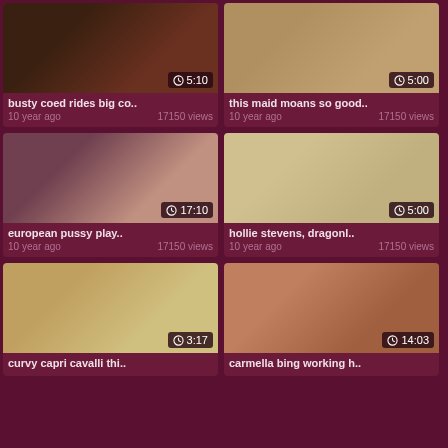[Figure (screenshot): Video thumbnail 1 - busty coed rides big co..]
busty coed rides big co..
10 year ago    17150 views
[Figure (screenshot): Video thumbnail 2 - this maid moans so good..]
this maid moans so good..
10 year ago    17150 views
[Figure (screenshot): Video thumbnail 3 - european pussy play..]
european pussy play..
10 year ago    17150 views
[Figure (screenshot): Video thumbnail 4 - hollie stevens, dragonl..]
hollie stevens, dragonl..
10 year ago    17150 views
[Figure (screenshot): Video thumbnail 5 - curvy capri cavalli thi..]
curvy capri cavalli thi..
[Figure (screenshot): Video thumbnail 6 - carmella bing working h..]
carmella bing working h..